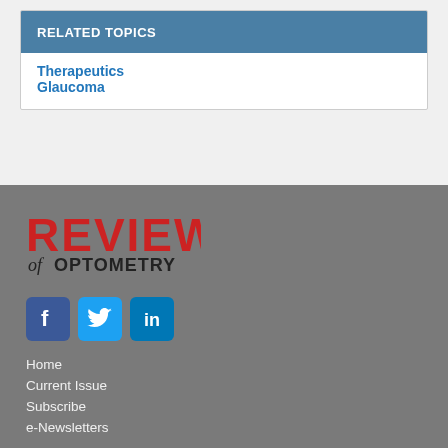RELATED TOPICS
Therapeutics
Glaucoma
[Figure (logo): Review of Optometry logo with red REVIEW text and black 'of OPTOMETRY' text below]
[Figure (infographic): Social media icons: Facebook (blue), Twitter (blue bird), LinkedIn (blue)]
Home
Current Issue
Subscribe
e-Newsletters